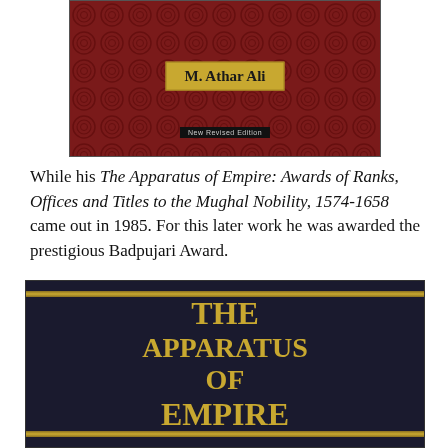[Figure (photo): Book cover of a work by M. Athar Ali with dark red spiral/geometric pattern background, gold label reading 'M. Athar Ali', and 'New Revised Edition' text below]
While his The Apparatus of Empire: Awards of Ranks, Offices and Titles to the Mughal Nobility, 1574-1658 came out in 1985. For this later work he was awarded the prestigious Badpujari Award.
[Figure (photo): Book cover of 'The Apparatus of Empire' — dark navy/black cover with gold ornate border strips and large gold letters reading 'THE APPARATUS OF EMPIRE']